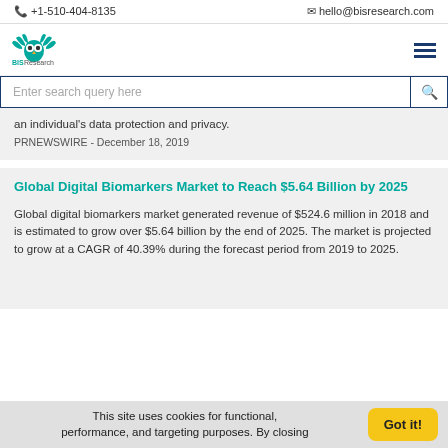+1-510-404-8135   hello@bisresearch.com
[Figure (logo): BIS Research logo with owl and wings, teal color]
Enter search query here
an individual's data protection and privacy.
PRNEWSWIRE - December 18, 2019
Global Digital Biomarkers Market to Reach $5.64 Billion by 2025
Global digital biomarkers market generated revenue of $524.6 million in 2018 and is estimated to grow over $5.64 billion by the end of 2025. The market is projected to grow at a CAGR of 40.39% during the forecast period from 2019 to 2025.
This site uses cookies for functional, performance, and targeting purposes. By closing